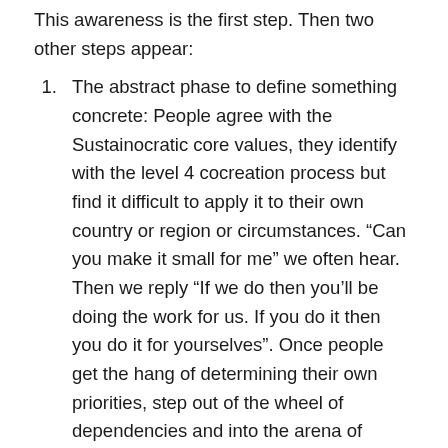This awareness is the first step. Then two other steps appear:
The abstract phase to define something concrete: People agree with the Sustainocratic core values, they identify with the level 4 cocreation process but find it difficult to apply it to their own country or region or circumstances. “Can you make it small for me” we often hear. Then we reply “If we do then you’ll be doing the work for us. If you do it then you do it for yourselves”. Once people get the hang of determining their own priorities, step out of the wheel of dependencies and into the arena of shared responsibilities, then the flow really starts. In such stage we can become partners and share best practice, consultancy, networks, instruments, etc while